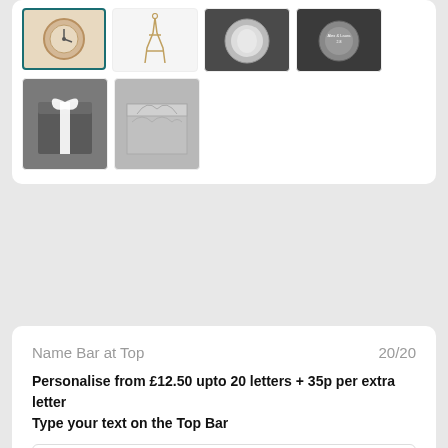[Figure (photo): Product thumbnail images: watch (selected), Eiffel tower pendant, mirror compact, engraved item, dark gift box with ribbon, silver decorative box]
Name Bar at Top   20/20
Personalise from £12.50 upto 20 letters + 35p per extra letter
Type your text on the Top Bar
Harriet Simons (placeholder text in input field)
Back of watch   375/375
Type your text on the watch back.